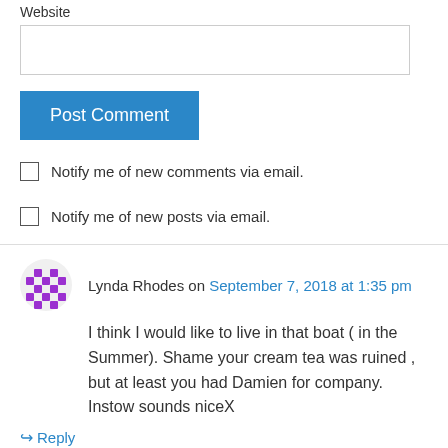Website
Post Comment
Notify me of new comments via email.
Notify me of new posts via email.
Lynda Rhodes on September 7, 2018 at 1:35 pm
I think I would like to live in that boat ( in the Summer). Shame your cream tea was ruined , but at least you had Damien for company. Instow sounds niceX
Reply